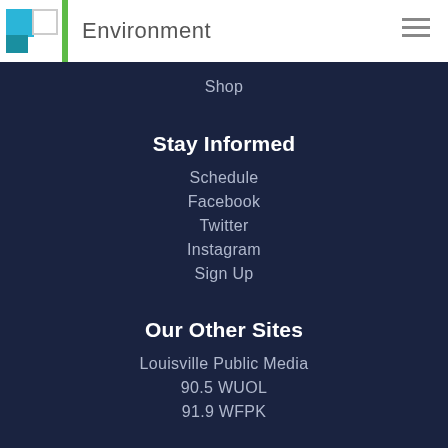Environment
Shop
Stay Informed
Schedule
Facebook
Twitter
Instagram
Sign Up
Our Other Sites
Louisville Public Media
90.5 WUOL
91.9 WFPK